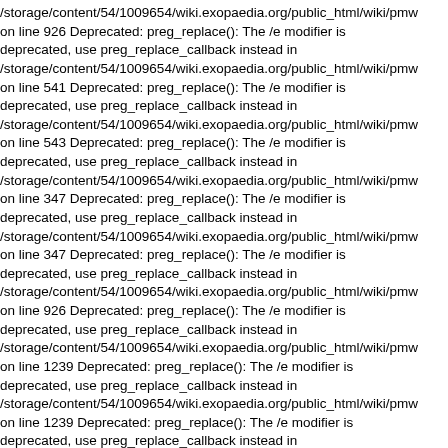/storage/content/54/1009654/wiki.exopaedia.org/public_html/wiki/pmw on line 926 Deprecated: preg_replace(): The /e modifier is deprecated, use preg_replace_callback instead in /storage/content/54/1009654/wiki.exopaedia.org/public_html/wiki/pmw on line 541 Deprecated: preg_replace(): The /e modifier is deprecated, use preg_replace_callback instead in /storage/content/54/1009654/wiki.exopaedia.org/public_html/wiki/pmw on line 543 Deprecated: preg_replace(): The /e modifier is deprecated, use preg_replace_callback instead in /storage/content/54/1009654/wiki.exopaedia.org/public_html/wiki/pmw on line 347 Deprecated: preg_replace(): The /e modifier is deprecated, use preg_replace_callback instead in /storage/content/54/1009654/wiki.exopaedia.org/public_html/wiki/pmw on line 347 Deprecated: preg_replace(): The /e modifier is deprecated, use preg_replace_callback instead in /storage/content/54/1009654/wiki.exopaedia.org/public_html/wiki/pmw on line 926 Deprecated: preg_replace(): The /e modifier is deprecated, use preg_replace_callback instead in /storage/content/54/1009654/wiki.exopaedia.org/public_html/wiki/pmw on line 1239 Deprecated: preg_replace(): The /e modifier is deprecated, use preg_replace_callback instead in /storage/content/54/1009654/wiki.exopaedia.org/public_html/wiki/pmw on line 1239 Deprecated: preg_replace(): The /e modifier is deprecated, use preg_replace_callback instead in /storage/content/54/1009654/wiki.exopaedia.org/public_html/wiki/pmw on line 1239 Deprecated: preg_replace(): The /e modifier is deprecated, use preg_replace_callback instead in /storage/content/54/1009654/wiki.exopaedia.org/public_html/wiki/pmw